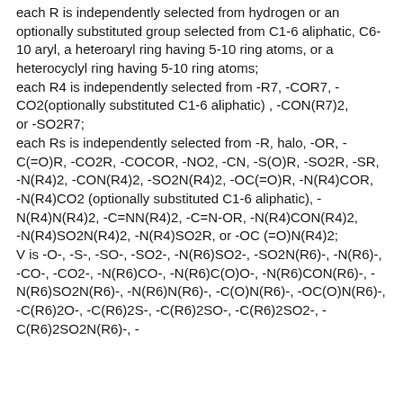each R is independently selected from hydrogen or an optionally substituted group selected from C1-6 aliphatic, C6-10 aryl, a heteroaryl ring having 5-10 ring atoms, or a heterocyclyl ring having 5-10 ring atoms;
each R4 is independently selected from -R7, -COR7, -CO2(optionally substituted C1-6 aliphatic) , -CON(R7)2, or -SO2R7;
each Rs is independently selected from -R, halo, -OR, -C(=O)R, -CO2R, -COCOR, -NO2, -CN, -S(O)R, -SO2R, -SR, -N(R4)2, -CON(R4)2, -SO2N(R4)2, -OC(=O)R, -N(R4)COR, -N(R4)CO2 (optionally substituted C1-6 aliphatic), -N(R4)N(R4)2, -C=NN(R4)2, -C=N-OR, -N(R4)CON(R4)2, -N(R4)SO2N(R4)2, -N(R4)SO2R, or -OC (=O)N(R4)2;
V is -O-, -S-, -SO-, -SO2-, -N(R6)SO2-, -SO2N(R6)-, -N(R6)-, -CO-, -CO2-, -N(R6)CO-, -N(R6)C(O)O-, -N(R6)CON(R6)-, -N(R6)SO2N(R6)-, -N(R6)N(R6)-, -C(O)N(R6)-, -OC(O)N(R6)-, -C(R6)2O-, -C(R6)2S-, -C(R6)2SO-, -C(R6)2SO2-, -C(R6)2SO2N(R6)-, -